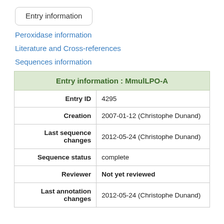Entry information
Peroxidase information
Literature and Cross-references
Sequences information
| Entry information : MmulLPO-A |
| --- |
| Entry ID | 4295 |
| Creation | 2007-01-12 (Christophe Dunand) |
| Last sequence changes | 2012-05-24 (Christophe Dunand) |
| Sequence status | complete |
| Reviewer | Not yet reviewed |
| Last annotation changes | 2012-05-24 (Christophe Dunand) |